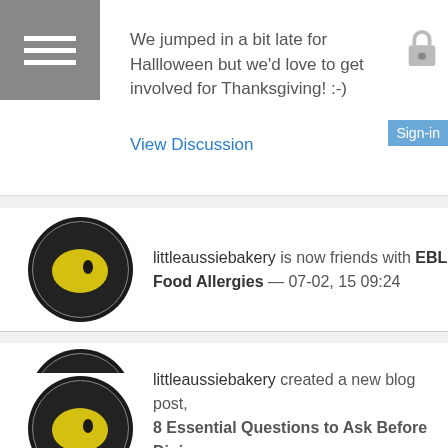We jumped in a bit late for Hallloween but we'd love to get involved for Thanksgiving! :-)
View Discussion
littleaussiebakery is now friends with EBL Food Allergies — 07-02, 15 09:24
littleaussiebakery is now friends with eJelassi — 06-12, 15 00:24
littleaussiebakery created a new blog post, 8 Essential Questions to Ask Before Dining Out at Gluten F...